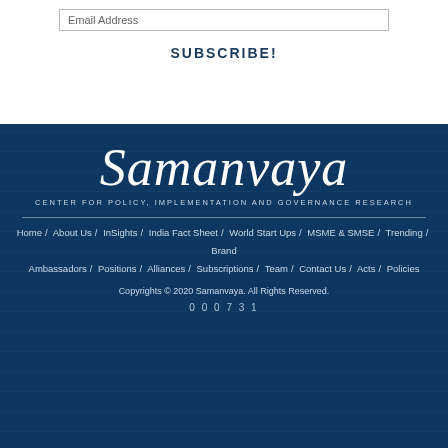Email Address
SUBSCRIBE!
[Figure (logo): Samanvaya cursive script logo in white on dark blue background]
CENTER FOR POLICY, IMPLEMENTATION AND GOVERNANCE RESEARCH
Home / About Us / InSights / India Fact Sheet / World Start Ups / MSME & SMSE / Trending / Brand Ambassadors / Positions / Alliances / Subscriptions / Team / Contact Us / Acts / Policies
Copyrights © 2020 Samanvaya. All Rights Reserved.
000731